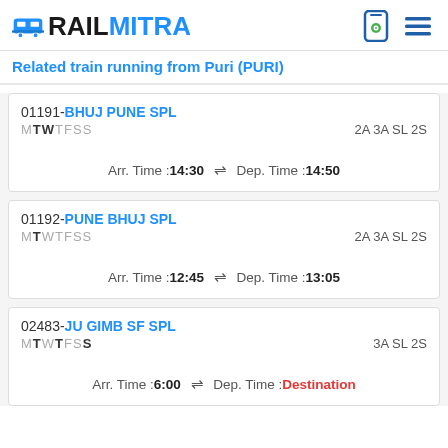RAILMITRA
Related train running from Puri (PURI)
01191-BHUJ PUNE SPL | MTWTFSS | 2A 3A SL 2S | Arr. Time :14:30 ⇌ Dep. Time :14:50
01192-PUNE BHUJ SPL | MTWTFSS | 2A 3A SL 2S | Arr. Time :12:45 ⇌ Dep. Time :13:05
02483-JU GIMB SF SPL | MTWTFSS | 3A SL 2S | Arr. Time :6:00 ⇌ Dep. Time :Destination